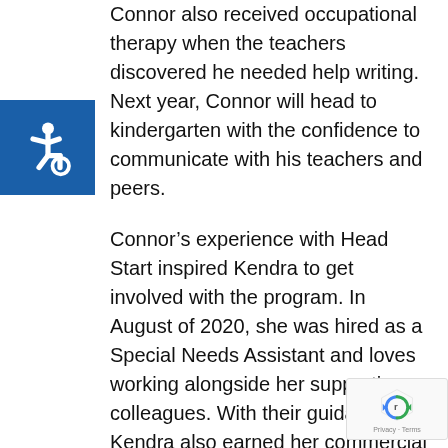[Figure (logo): Accessibility icon — white wheelchair symbol on blue square background]
Connor also received occupational therapy when the teachers discovered he needed help writing. Next year, Connor will head to kindergarten with the confidence to communicate with his teachers and peers.
Connor's experience with Head Start inspired Kendra to get involved with the program. In August of 2020, she was hired as a Special Needs Assistant and loves working alongside her supportive colleagues. With their guidance, Kendra also earned her commercial driver's license to drive the school bus and took a nine month course to earn family development credentials.
“[Community Action staff] are the most kind-hearted, hardworking, and